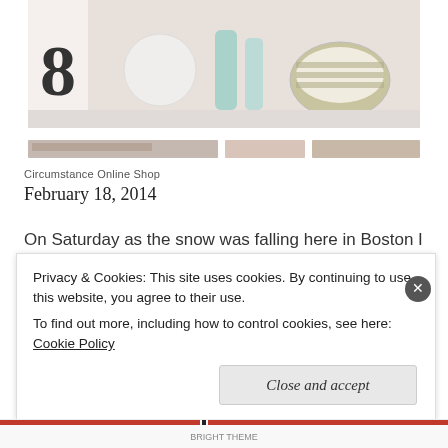[Figure (photo): Top portion of a blog page showing cropped lifestyle photo with the number 8 visible, decorative items including white knit ball, teal bottles, striped bowl, and a second partially visible image strip below]
Circumstance Online Shop
February 18, 2014
On Saturday as the snow was falling here in Boston I settled in at the computer and spent  some quality time (with a drink in hand) working on my online shop. I've always wanted an online outlet for my pieces since at the moment I'm only able to do pop-
Privacy & Cookies: This site uses cookies. By continuing to use this website, you agree to their use.
To find out more, including how to control cookies, see here: Cookie Policy
Close and accept